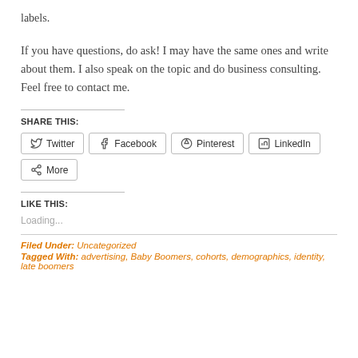labels.
If you have questions, do ask!  I may have the same ones and write about them.  I also speak on the topic and do business consulting.  Feel free to contact me.
SHARE THIS:
Twitter  Facebook  Pinterest  LinkedIn  More
LIKE THIS:
Loading...
Filed Under: Uncategorized
Tagged With: advertising, Baby Boomers, cohorts, demographics, identity, late boomers